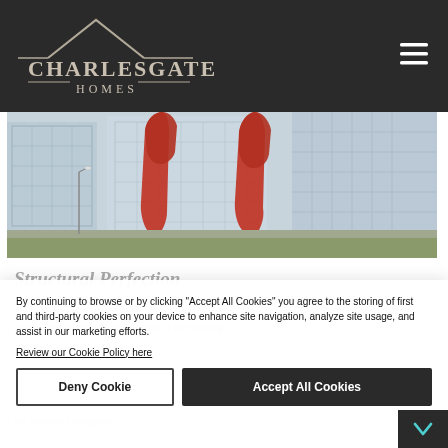CHARLESGATE HOMES
[Figure (photo): Architectural rendering showing large red abstract sculpture in front of modern glass skyscrapers with urban streetscape]
Structural Perfection
Lorem Ipsum is simply dummy text of the printing and typesetting industry. Lorem Ipsum has been the industry's standard dummy text ever since the 1500s when an unknown printer took a galle...
By continuing to browse or by clicking "Accept All Cookies" you agree to the storing of first and third-party cookies on your device to enhance site navigation, analyze site usage, and assist in our marketing efforts.
Review our Cookie Policy here
Deny Cookie
Accept All Cookies